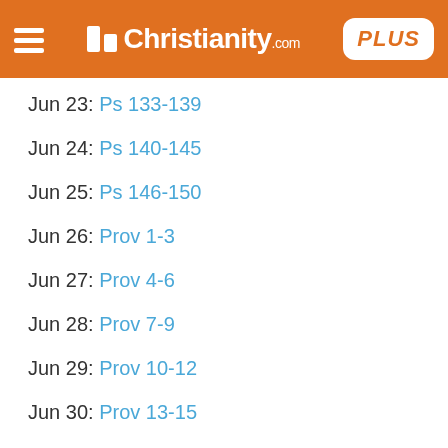Christianity.com PLUS
Jun 23: Ps 133-139
Jun 24: Ps 140-145
Jun 25: Ps 146-150
Jun 26: Prov 1-3
Jun 27: Prov 4-6
Jun 28: Prov 7-9
Jun 29: Prov 10-12
Jun 30: Prov 13-15
Jul 1: Prov 16-18
Jul 2: Prov 19-21
Jul 3: Prov 22-23
Jul 4: Prov 24-26
Jul 5: Prov 27-29